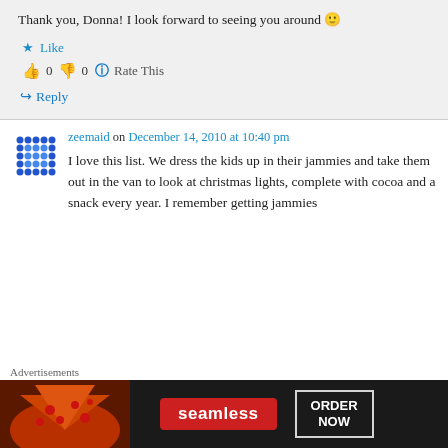Thank you, Donna! I look forward to seeing you around 🙂
★ Like
👍 0 👎 0 ℹ Rate This
↪ Reply
zeemaid on December 14, 2010 at 10:40 pm
I love this list. We dress the kids up in their jammies and take them out in the van to look at christmas lights, complete with cocoa and a snack every year. I remember getting jammies...
Advertisements
[Figure (screenshot): Seamless food delivery advertisement banner with pizza image on left, Seamless logo in red box, and ORDER NOW button on right, on dark background]